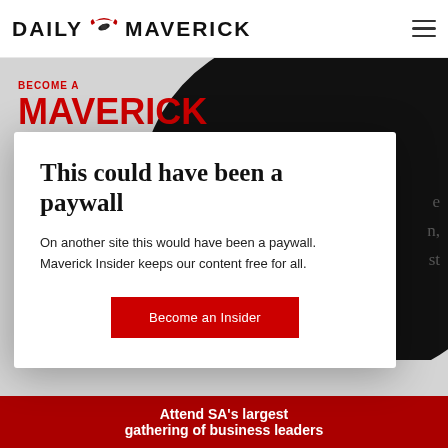DAILY MAVERICK
[Figure (logo): Daily Maverick logo with eagle graphic between DAILY and MAVERICK]
[Figure (illustration): Large black spiral / question mark graphic on light grey background]
BECOME A
MAVERICK INSIDER
This could have been a paywall
On another site this would have been a paywall. Maverick Insider keeps our content free for all.
Become an Insider
Attend SA's largest gathering of business leaders